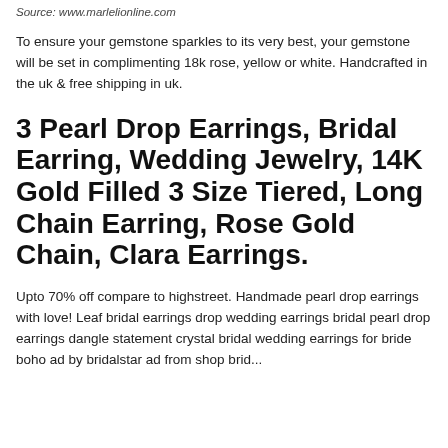Source: www.marlelionline.com
To ensure your gemstone sparkles to its very best, your gemstone will be set in complimenting 18k rose, yellow or white. Handcrafted in the uk & free shipping in uk.
3 Pearl Drop Earrings, Bridal Earring, Wedding Jewelry, 14K Gold Filled 3 Size Tiered, Long Chain Earring, Rose Gold Chain, Clara Earrings.
Upto 70% off compare to highstreet. Handmade pearl drop earrings with love! Leaf bridal earrings drop wedding earrings bridal pearl drop earrings dangle statement crystal bridal wedding earrings for bride boho ad by bridalstar ad from shop bridalstar bridal...